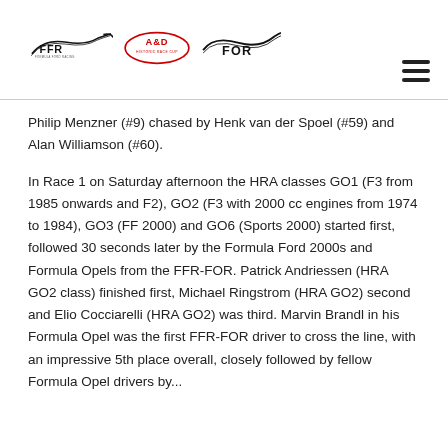FFR / A&D Historic Race Cup / FOR logos
Philip Menzner (#9) chased by Henk van der Spoel (#59) and Alan Williamson (#60).
In Race 1 on Saturday afternoon the HRA classes GO1 (F3 from 1985 onwards and F2), GO2 (F3 with 2000 cc engines from 1974 to 1984), GO3 (FF 2000) and GO6 (Sports 2000) started first, followed 30 seconds later by the Formula Ford 2000s and Formula Opels from the FFR-FOR. Patrick Andriessen (HRA GO2 class) finished first, Michael Ringstrom (HRA GO2) second and Elio Cocciarelli (HRA GO2) was third. Marvin Brandl in his Formula Opel was the first FFR-FOR driver to cross the line, with an impressive 5th place overall, closely followed by fellow Formula Opel drivers by...